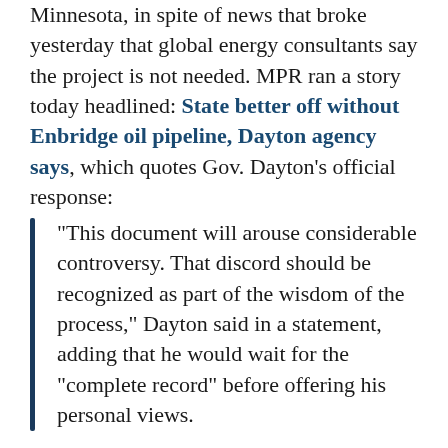Minnesota, in spite of news that broke yesterday that global energy consultants say the project is not needed. MPR ran a story today headlined: State better off without Enbridge oil pipeline, Dayton agency says, which quotes Gov. Dayton’s official response:
“This document will arouse considerable controversy. That discord should be recognized as part of the wisdom of the process,” Dayton said in a statement, adding that he would wait for the “complete record” before offering his personal views.